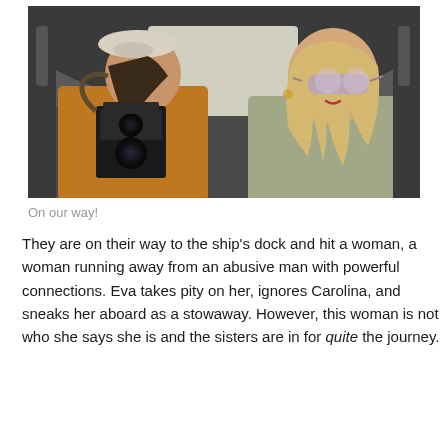[Figure (photo): Two women sitting in the back seat of a car. The woman on the left wears an orange/mustard blouse and a white beret, and holds a vintage twin-lens reflex camera. The woman on the right has long blonde wavy hair, wears pink tinted sunglasses and a light grey/sage outfit.]
On our way!
They are on their way to the ship's dock and hit a woman, a woman running away from an abusive man with powerful connections. Eva takes pity on her, ignores Carolina, and sneaks her aboard as a stowaway. However, this woman is not who she says she is and the sisters are in for quite the journey.